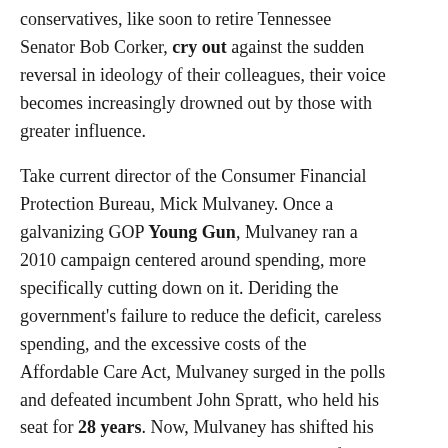conservatives, like soon to retire Tennessee Senator Bob Corker, cry out against the sudden reversal in ideology of their colleagues, their voice becomes increasingly drowned out by those with greater influence.
Take current director of the Consumer Financial Protection Bureau, Mick Mulvaney. Once a galvanizing GOP Young Gun, Mulvaney ran a 2010 campaign centered around spending, more specifically cutting down on it. Deriding the government's failure to reduce the deficit, careless spending, and the excessive costs of the Affordable Care Act, Mulvaney surged in the polls and defeated incumbent John Spratt, who held his seat for 28 years. Now, Mulvaney has shifted his perspectives. Mulvaney has publicly called for new deficits, trying to rationalize the GOP tax plan and its projected $1.9 trillion addition to the national debt over the next decade. For a man who once preached financial responsibility and called for $2.5 trillion in cuts immediately after being sworn into congress, this behavior should be shocking. This change of heart, however, is all too prevalent in our current government. With the freedom to implement the policies they have longed for, not necessarily the ones they paraded to